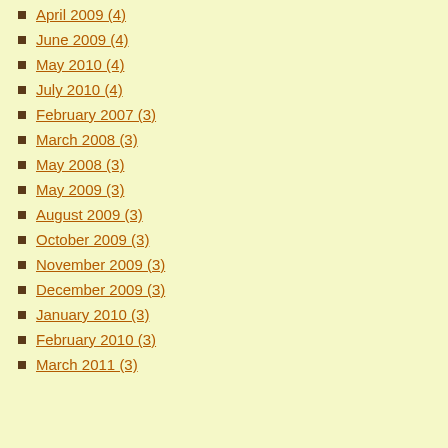April 2009 (4)
June 2009 (4)
May 2010 (4)
July 2010 (4)
February 2007 (3)
March 2008 (3)
May 2008 (3)
May 2009 (3)
August 2009 (3)
October 2009 (3)
November 2009 (3)
December 2009 (3)
January 2010 (3)
February 2010 (3)
March 2011 (3)